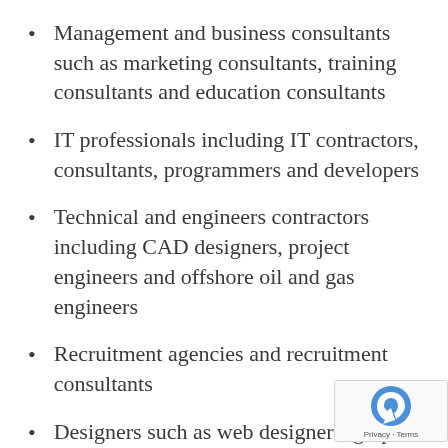Management and business consultants such as marketing consultants, training consultants and education consultants
IT professionals including IT contractors, consultants, programmers and developers
Technical and engineers contractors including CAD designers, project engineers and offshore oil and gas engineers
Recruitment agencies and recruitment consultants
Designers such as web designers, graphic designers and interior designers
Fitness professionals including personal